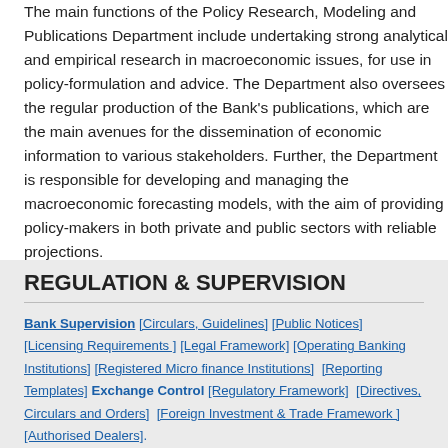The main functions of the Policy Research, Modeling and Publications Department include undertaking strong analytical and empirical research in macroeconomic issues, for use in policy-formulation and advice. The Department also oversees the regular production of the Bank's publications, which are the main avenues for the dissemination of economic information to various stakeholders. Further, the Department is responsible for developing and managing the macroeconomic forecasting models, with the aim of providing policy-makers in both private and public sectors with reliable projections.
REGULATION & SUPERVISION
Bank Supervision [Circulars, Guidelines] [Public Notices] [Licensing Requirements ] [Legal Framework] [Operating Banking Institutions] [Registered Micro finance Institutions] [Reporting Templates] Exchange Control [Regulatory Framework] [Directives, Circulars and Orders] [Foreign Investment & Trade Framework ] [Authorised Dealers].